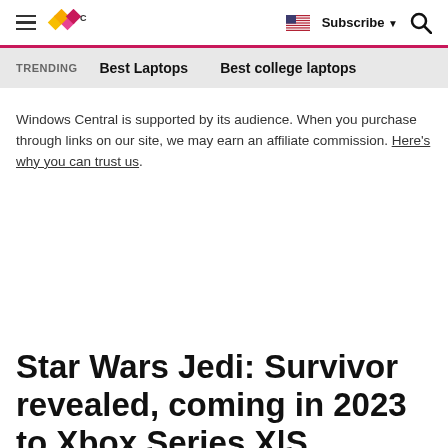Windows Central — Subscribe | Search
TRENDING   Best Laptops   Best college laptops
Windows Central is supported by its audience. When you purchase through links on our site, we may earn an affiliate commission. Here's why you can trust us.
Star Wars Jedi: Survivor revealed, coming in 2023 to Xbox Series X|S